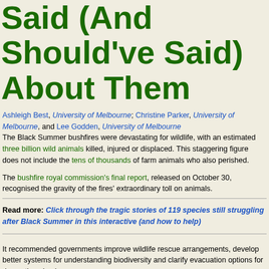Said (And Should've Said) About Them
Ashleigh Best, University of Melbourne; Christine Parker, University of Melbourne, and Lee Godden, University of Melbourne
The Black Summer bushfires were devastating for wildlife, with an estimated three billion wild animals killed, injured or displaced. This staggering figure does not include the tens of thousands of farm animals who also perished.
The bushfire royal commission's final report, released on October 30, recognised the gravity of the fires' extraordinary toll on animals.
Read more: Click through the tragic stories of 119 species still struggling after Black Summer in this interactive (and how to help)
It recommended governments improve wildlife rescue arrangements, develop better systems for understanding biodiversity and clarify evacuation options for domestic animals.
While these changes are welcome and necessary, they're not sufficient. Minimising such catastrophic impacts on wildlife and livestock also means